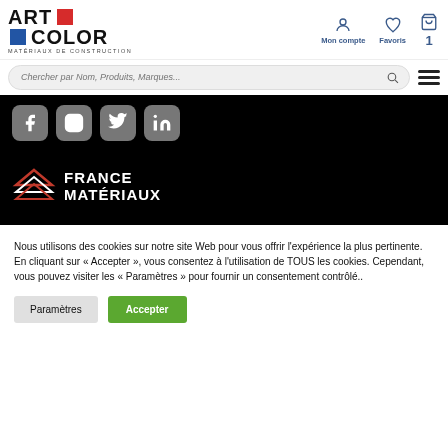[Figure (logo): Art Color Matériaux de Construction logo with red and blue squares]
[Figure (infographic): Navigation icons: Mon compte (account), Favoris (heart/favorites), cart with count 1]
[Figure (screenshot): Search bar with placeholder text 'Chercher par Nom, Produits, Marques...' and hamburger menu icon]
[Figure (infographic): Black band with social media icons: Facebook, Instagram, Twitter, LinkedIn, and France Matériaux logo]
Nous utilisons des cookies sur notre site Web pour vous offrir l'expérience la plus pertinente. En cliquant sur « Accepter », vous consentez à l'utilisation de TOUS les cookies. Cependant, vous pouvez visiter les « Paramètres » pour fournir un consentement contrôlé..
Paramètres
Accepter